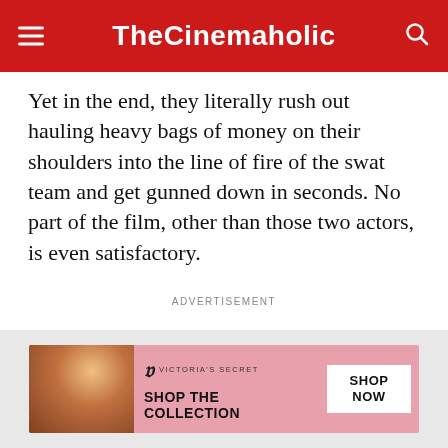TheCinemaholic
Yet in the end, they literally rush out hauling heavy bags of money on their shoulders into the line of fire of the swat team and get gunned down in seconds. No part of the film, other than those two actors, is even satisfactory.
ADVERTISEMENT
[Figure (photo): Victoria's Secret advertisement banner featuring a woman and the text 'SHOP THE COLLECTION' with a 'SHOP NOW' button]